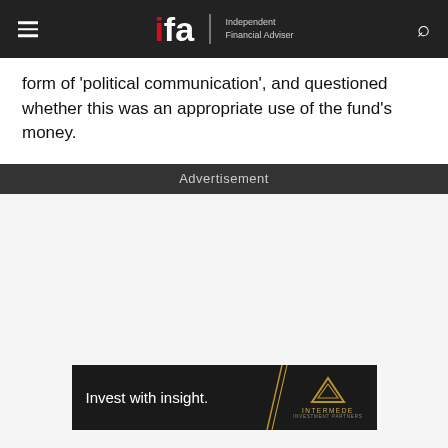ifa Independent Financial Adviser
form of 'political communication', and questioned whether this was an appropriate use of the fund's money.
Advertisement
[Figure (illustration): Intermede Investment Partners advertisement banner: 'Invest with insight.' with gold diagonal line and Intermede logo on dark background]